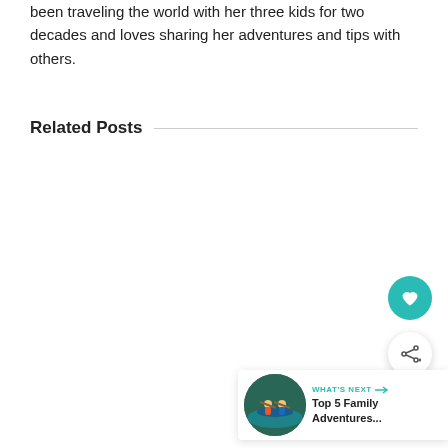been traveling the world with her three kids for two decades and loves sharing her adventures and tips with others.
Related Posts
[Figure (other): Floating heart (like/favorite) button — teal circular FAB with white heart icon]
[Figure (other): Floating share button — white circular FAB with share/network icon]
[Figure (other): What's Next widget showing a thumbnail of people kayaking, label 'WHAT'S NEXT →', and title 'Top 5 Family Adventures...']